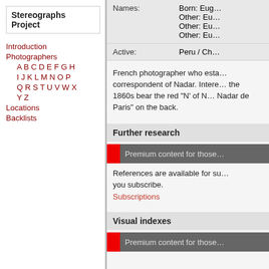Stereographs Project
Introduction
Photographers
A B C D E F G H
I J K L M N O P
Q R S T U V W X
Y Z
Locations
Backlists
| Names: |  | Active: |  |
| --- | --- | --- | --- |
| Names: | Born: Eug… Other: Eu… Other: Eu… Other: Eu… |
| Active: | Peru / Ch… |
French photographer who esta… correspondent of Nadar. Intere… the 1860s bear the red "N' of N… Nadar de Paris" on the back.
Further research
Premium content for those…
References are available for su… you subscribe.
Subscriptions
Visual indexes
Premium content for those…